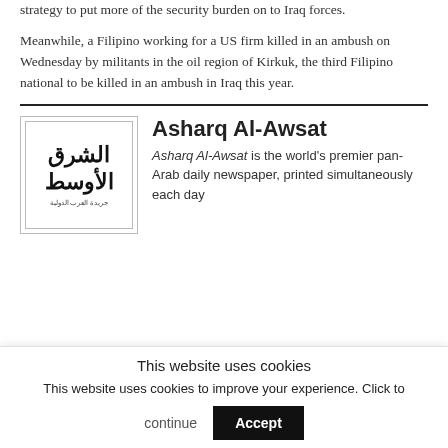strategy to put more of the security burden on to Iraq forces.
Meanwhile, a Filipino working for a US firm killed in an ambush on Wednesday by militants in the oil region of Kirkuk, the third Filipino national to be killed in an ambush in Iraq this year.
[Figure (logo): Asharq Al-Awsat newspaper logo with Arabic text]
Asharq Al-Awsat
Asharq Al-Awsat is the world's premier pan-Arab daily newspaper, printed simultaneously each day
This website uses cookies
This website uses cookies to improve your experience. Click to continue  Accept